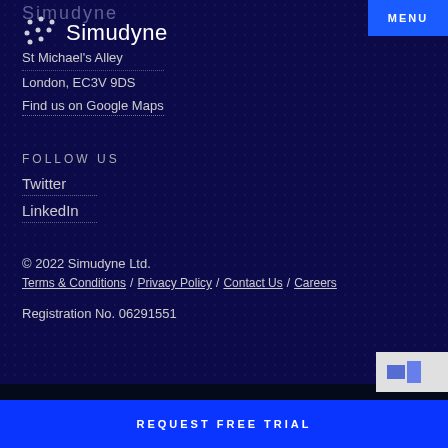Simudyne
[Figure (logo): Simudyne logo with dot pattern and name]
St Michael's Alley
London, EC3V 9DS
Find us on Google Maps
FOLLOW US
Twitter
LinkedIn
© 2022 Simudyne Ltd.
Terms & Conditions / Privacy Policy / Contact Us / Careers
Registration No. 06291551
REQUEST FREE TRIAL